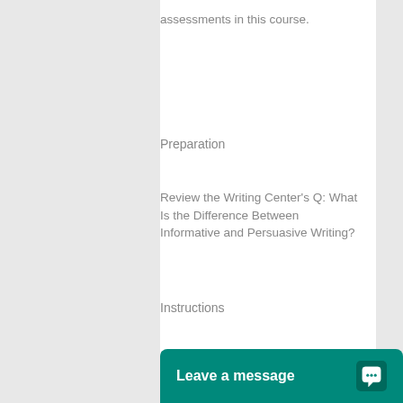assessments in this course.
Preparation
Review the Writing Center's Q: What Is the Difference Between Informative and Persuasive Writing?
Instructions
For this assessment, write a report that addresses the points below. Use the Comparison Template [D
[Figure (other): Live chat widget button with teal background reading 'Leave a message' with a chat bubble icon]